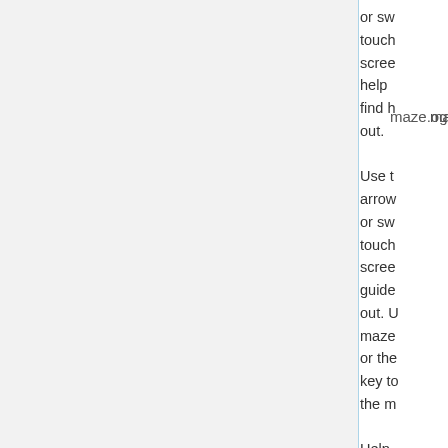maze.ogg
or sw touch scree help find h out. Use t arrow or sw touch scree guide out. U maze or the key to the m Help find h out.
mazeinvisible.ogg